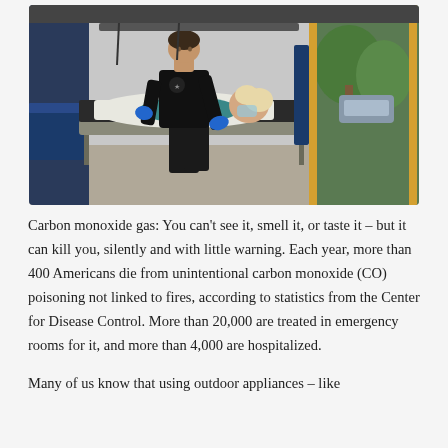[Figure (photo): An EMT/paramedic in black uniform with blue gloves attending to a patient lying on a stretcher inside an ambulance. The patient appears to be a woman receiving oxygen. The ambulance interior shows blue padding, equipment, and a view of trees and a car through the open rear doors.]
Carbon monoxide gas: You can't see it, smell it, or taste it – but it can kill you, silently and with little warning. Each year, more than 400 Americans die from unintentional carbon monoxide (CO) poisoning not linked to fires, according to statistics from the Center for Disease Control. More than 20,000 are treated in emergency rooms for it, and more than 4,000 are hospitalized.
Many of us know that using outdoor appliances – like